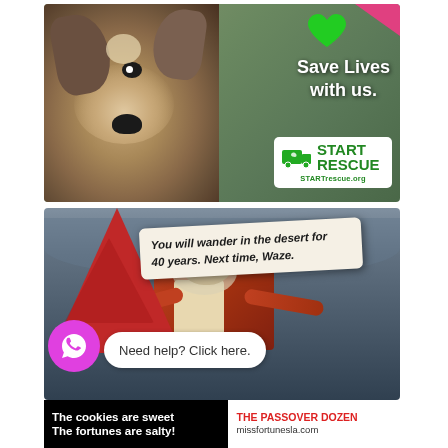[Figure (illustration): Animal rescue advertisement showing a close-up photo of a puppy with text 'Save Lives with us.' and START RESCUE logo with STARTrescue.org website, green heart graphic and pink corner flag]
[Figure (photo): Humorous fortune cookie meme showing a figure dressed like Moses holding a red triangular cookie with a fortune slip reading 'You will wander in the desert for 40 years. Next time, Waze.' with a WhatsApp chat bubble saying 'Need help? Click here.']
The cookies are sweet The fortunes are salty!
THE PASSOVER DOZEN missfortunesla.com